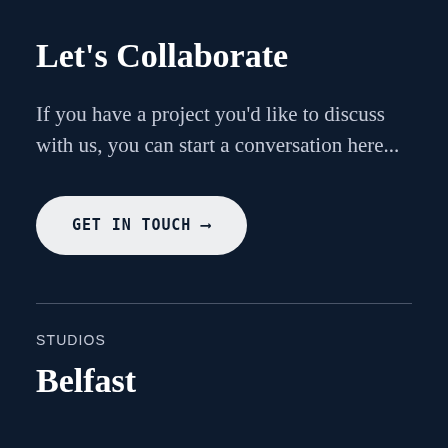Let’s Collaborate
If you have a project you'd like to discuss with us, you can start a conversation here...
GET IN TOUCH ⟶
STUDIOS
Belfast